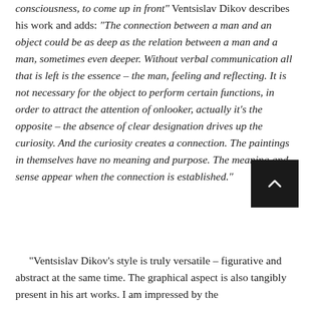consciousness, to come up in front" Ventsislav Dikov describes his work and adds: "The connection between a man and an object could be as deep as the relation between a man and a man, sometimes even deeper. Without verbal communication all that is left is the essence – the man, feeling and reflecting. It is not necessary for the object to perform certain functions, in order to attract the attention of onlooker, actually it's the opposite – the absence of clear designation drives up the curiosity. And the curiosity creates a connection. The paintings in themselves have no meaning and purpose. The meaning and sense appear when the connection is established."
"Ventsislav Dikov's style is truly versatile – figurative and abstract at the same time. The graphical aspect is also tangibly present in his art works. I am impressed by the